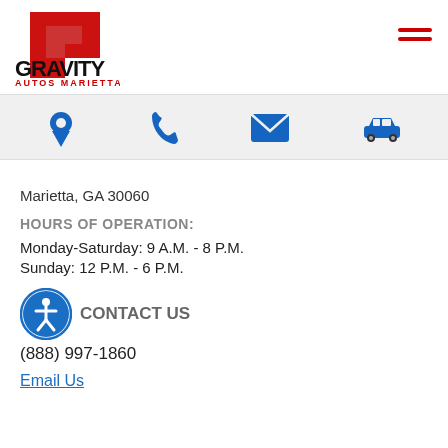[Figure (logo): Gravity Autos Marietta logo — red angular G icon above bold black GRAVITY text and red AUTOS MARIETTA text]
[Figure (illustration): Hamburger menu icon (three horizontal red lines)]
[Figure (illustration): Navigation icon bar with location pin, phone, envelope/email, and car icons in blue on light grey background]
Marietta, GA 30060
HOURS OF OPERATION:
Monday-Saturday: 9 A.M. - 8 P.M.
Sunday: 12 P.M. - 6 P.M.
CONTACT US
(888) 997-1860
Email Us